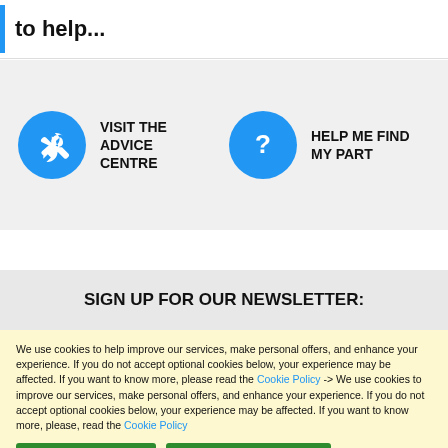to help...
[Figure (illustration): Blue wrench icon in a blue circle, labeled VISIT THE ADVICE CENTRE]
VISIT THE ADVICE CENTRE
[Figure (illustration): Question mark icon in a blue circle, labeled HELP ME FIND MY PART]
HELP ME FIND MY PART
SIGN UP FOR OUR NEWSLETTER:
We use cookies to help improve our services, make personal offers, and enhance your experience. If you do not accept optional cookies below, your experience may be affected. If you want to know more, please read the Cookie Policy -> We use cookies to improve our services, make personal offers, and enhance your experience. If you do not accept optional cookies below, your experience may be affected. If you want to know more, please, read the Cookie Policy
Allow Cookies
Cookies Settings